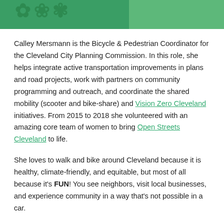[Figure (illustration): Top banner image showing illustrated figures on a green background, partially visible at the top of the page.]
Calley Mersmann is the Bicycle & Pedestrian Coordinator for the Cleveland City Planning Commission. In this role, she helps integrate active transportation improvements in plans and road projects, work with partners on community programming and outreach, and coordinate the shared mobility (scooter and bike-share) and Vision Zero Cleveland initiatives. From 2015 to 2018 she volunteered with an amazing core team of women to bring Open Streets Cleveland to life.
She loves to walk and bike around Cleveland because it is healthy, climate-friendly, and equitable, but most of all because it's FUN! You see neighbors, visit local businesses, and experience community in a way that's not possible in a car.